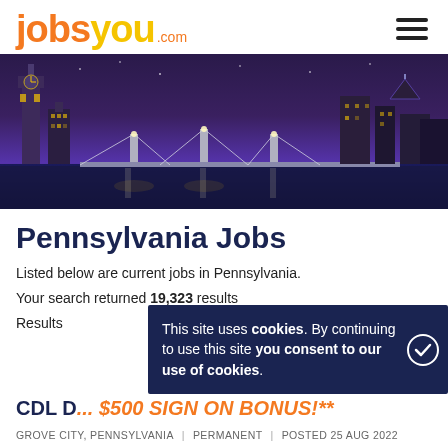[Figure (logo): jobsyou.com logo in orange and yellow, with hamburger menu icon on the right]
[Figure (photo): Night cityscape banner photo showing a river, illuminated bridges, and city skyline at dusk]
Pennsylvania Jobs
Listed below are current jobs in Pennsylvania.
Your search returned 19,323 results
Results
This site uses cookies. By continuing to use this site you consent to our use of cookies.
CDL D... $500 SIGN ON BONUS!**
GROVE CITY, PENNSYLVANIA  |  PERMANENT  |  POSTED 25 AUG 2022